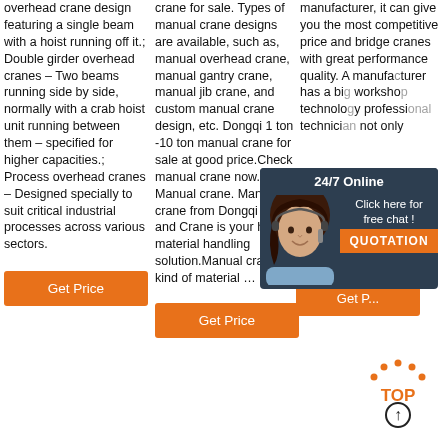overhead crane design featuring a single beam with a hoist running off it.; Double girder overhead cranes – Two beams running side by side, normally with a crab hoist unit running between them – specified for higher capacities.; Process overhead cranes – Designed specially to suit critical industrial processes across various sectors.
crane for sale. Types of manual crane designs are available, such as, manual overhead crane, manual gantry crane, manual jib crane, and custom manual crane design, etc. Dongqi 1 ton -10 ton manual crane for sale at good price.Check manual crane now. Manual crane. Manual crane from Dongqi Hoist and Crane is your handy material handling solution.Manual crane is kind of material …
manufacturer, it can give you the most competitive price and bridge cranes with great performance quality. A manufacturer has a bi workshop technolo professi technici not only
[Figure (screenshot): 24/7 Online chat widget with a customer service representative photo, 'Click here for free chat!' text, and orange QUOTATION button]
[Figure (other): TOP navigation button with orange dots forming an arc above the text 'TOP' and an upward arrow circle]
Get Price
Get Price
Get P...